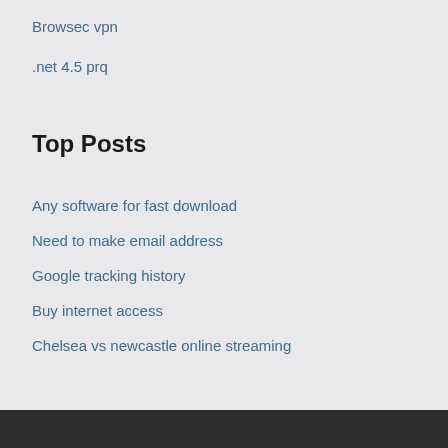Browsec vpn
.net 4.5 prq
Top Posts
Any software for fast download
Need to make email address
Google tracking history
Buy internet access
Chelsea vs newcastle online streaming